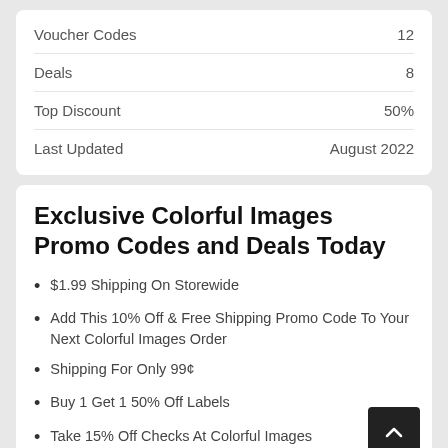|  |  |
| --- | --- |
| Voucher Codes | 12 |
| Deals | 8 |
| Top Discount | 50% |
| Last Updated | August 2022 |
Exclusive Colorful Images Promo Codes and Deals Today
$1.99 Shipping On Storewide
Add This 10% Off & Free Shipping Promo Code To Your Next Colorful Images Order
Shipping For Only 99¢
Buy 1 Get 1 50% Off Labels
Take 15% Off Checks At Colorful Images